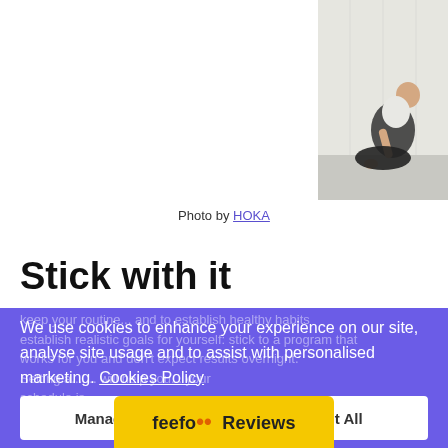[Figure (photo): Person seated in meditation/yoga pose on a light wooden floor, wearing dark pants and light top, photographed from above-right angle. Only partial view visible in top-right corner.]
Photo by HOKA
Stick with it
We use cookies to enhance your experience on our site, analyse site usage and to assist with personalised marketing. Cookies Policy
Manage Preferences
Accept All
[Figure (logo): Feefo Reviews logo — yellow bar with 'feefo' text in black followed by two orange dots and 'Reviews' text]